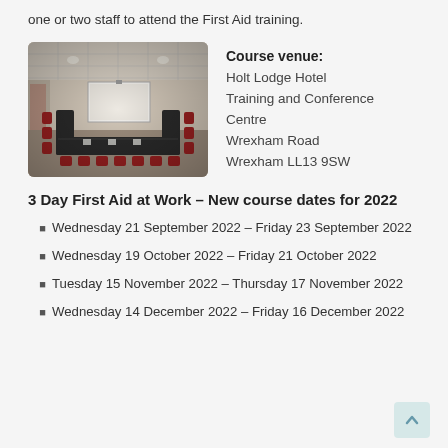one or two staff to attend the First Aid training.
[Figure (photo): Conference/training room with U-shaped table arrangement, red chairs, and a projector screen at the far end.]
Course venue: Holt Lodge Hotel Training and Conference Centre Wrexham Road Wrexham LL13 9SW
3 Day First Aid at Work – New course dates for 2022
Wednesday 21 September 2022 – Friday 23 September 2022
Wednesday 19 October 2022 – Friday 21 October 2022
Tuesday 15 November 2022 – Thursday 17 November 2022
Wednesday 14 December 2022 – Friday 16 December 2022